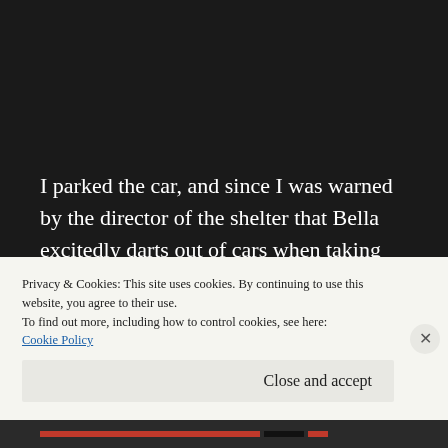I parked the car, and since I was warned by the director of the shelter that Bella excitedly darts out of cars when taking her out, I proceeded cautiously. Bella, however, waited patiently as I hooked her up to a leash. Once out of the car,
Privacy & Cookies: This site uses cookies. By continuing to use this website, you agree to their use.
To find out more, including how to control cookies, see here:
Cookie Policy
Close and accept